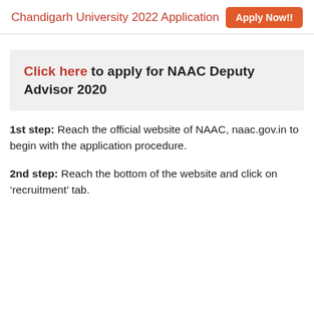Chandigarh University 2022 Application   Apply Now!!
Click here to apply for NAAC Deputy Advisor 2020
1st step: Reach the official website of NAAC, naac.gov.in to begin with the application procedure.
2nd step: Reach the bottom of the website and click on ‘recruitment’ tab.